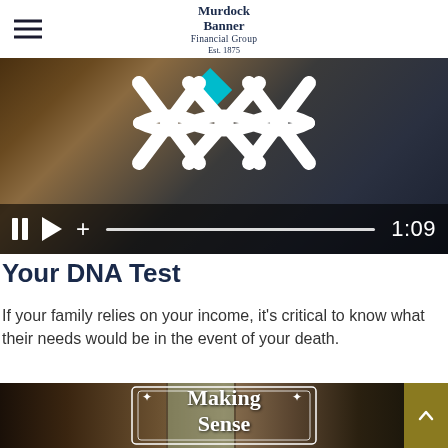Murdock Banner Financial Group Est. 1875
[Figure (screenshot): Video thumbnail showing hands holding a tablet with a DNA double helix icon overlay and video playback controls showing 1:09 duration]
Your DNA Test
If your family relies on your income, it's critical to know what their needs would be in the event of your death.
[Figure (screenshot): Partial video thumbnail showing a room interior with text overlay reading 'Making Sense' in decorative white serif font with ornamental border, with a gold scroll-to-top button]